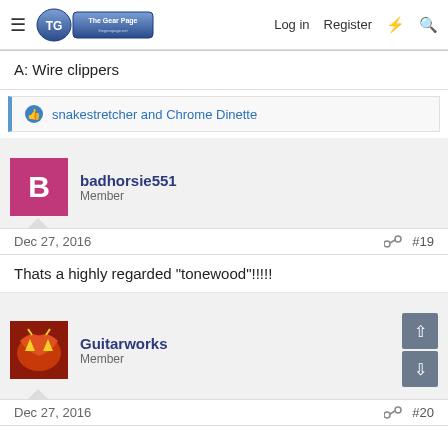The Gear Page — Log in  Register
A: Wire clippers
snakestretcher and Chrome Dinette
badhorsie551
Member
Dec 27, 2016   #19
Thats a highly regarded "tonewood"!!!!!
Guitarworks
Member
Dec 27, 2016   #20